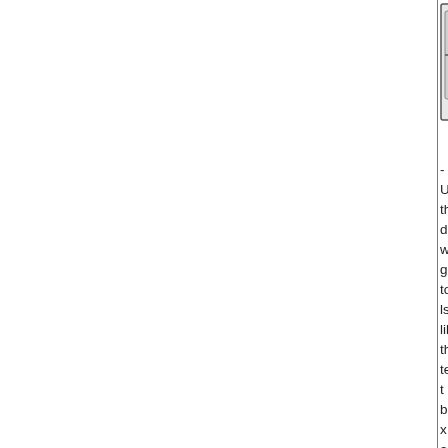[Figure (screenshot): A small UI widget or icon showing a scrollbar or slider control, with a gray rectangular element and a dark horizontal line across it, bordered by a dark outline.]
- Use the drawing tools like the text box and shapes to create the border of the item in
Use the drawing tools like the text box and shapes to create the border of the item in